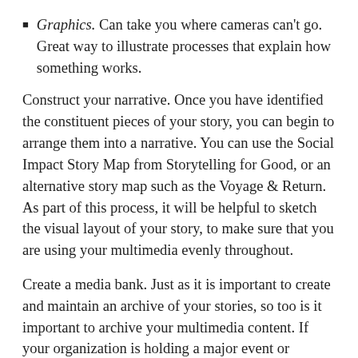Graphics. Can take you where cameras can't go. Great way to illustrate processes that explain how something works.
Construct your narrative. Once you have identified the constituent pieces of your story, you can begin to arrange them into a narrative. You can use the Social Impact Story Map from Storytelling for Good, or an alternative story map such as the Voyage & Return. As part of this process, it will be helpful to sketch the visual layout of your story, to make sure that you are using your multimedia evenly throughout.
Create a media bank. Just as it is important to create and maintain an archive of your stories, so too is it important to archive your multimedia content. If your organization is holding a major event or conducting work in your community, be sure to take pictures, make recordings, and save them. Once these events have taken place, you won't be able to go back and gather content—so gather material while you can. You might not have discovered a purpose